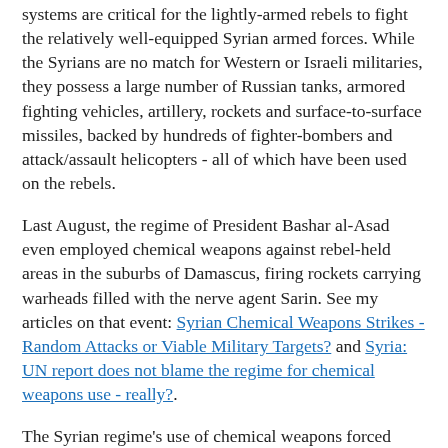systems are critical for the lightly-armed rebels to fight the relatively well-equipped Syrian armed forces. While the Syrians are no match for Western or Israeli militaries, they possess a large number of Russian tanks, armored fighting vehicles, artillery, rockets and surface-to-surface missiles, backed by hundreds of fighter-bombers and attack/assault helicopters - all of which have been used on the rebels.
Last August, the regime of President Bashar al-Asad even employed chemical weapons against rebel-held areas in the suburbs of Damascus, firing rockets carrying warheads filled with the nerve agent Sarin. See my articles on that event: Syrian Chemical Weapons Strikes - Random Attacks or Viable Military Targets? and Syria: UN report does not blame the regime for chemical weapons use - really?.
The Syrian regime's use of chemical weapons forced President Obama reluctantly into action - he had earlier stated that the movement of chemical weapons or their use constituted a "red line" that would result in consequences. The American threat to employ military force resulted in a Syrian agreement to rid itself of chemical weapons. That is a